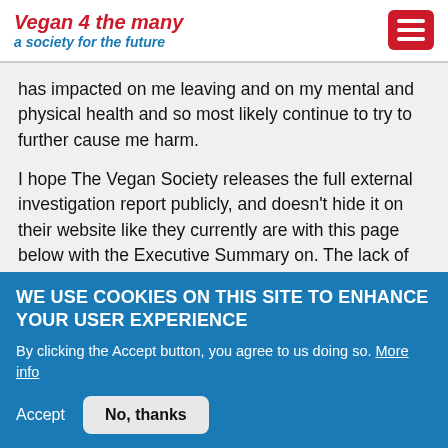Vegan 4 the many
a society for the future
has impacted on me leaving and on my mental and physical health and so most likely continue to try to further cause me harm.

I hope The Vegan Society releases the full external investigation report publicly, and doesn't hide it on their website like they currently are with this page below with the Executive Summary on. The lack of transparency and support for marginalised, targeted and vulnerable trustees has been eye-opening and experiencing this has made me feel dehumanised, unsupported and victim-blamed, as well as giving me mental health and physical health
WE USE COOKIES ON THIS SITE TO ENHANCE YOUR USER EXPERIENCE
By clicking the Accept button, you agree to us doing so. More info
Accept   No, thanks